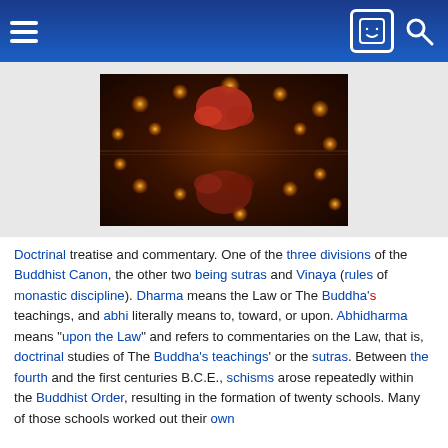Navigation header with hamburger menu, face icon, and search icon
[Figure (photo): Overhead view of a Buddhist monk in red robes praying among many lit candles reflected in water, creating a mirror image effect]
Doctrinal treatise and commentary. One of the three divisions of the Buddhist Canon, the other two being sutras and Vinaya (rules of monastic discipline). Dharma means the Law or The Buddha's teachings, and abhi literally means to, toward, or upon. Abhidharma means "upon the Law" and refers to commentaries on the Law, that is, doctrinal studies of The Buddha's teachings' or the sutras. Between the fourth and the first centuries B.C.E., schisms arose repeatedly within the Buddhist Order, resulting in the formation of twenty schools. Many of those schools worked out their own